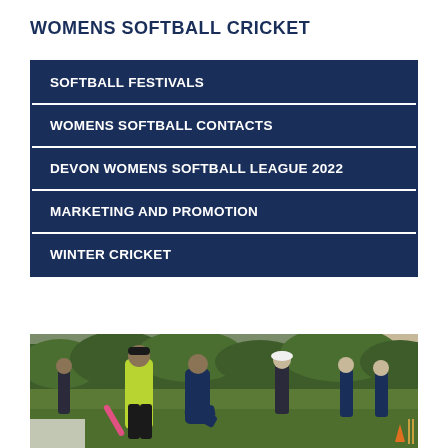WOMENS SOFTBALL CRICKET
SOFTBALL FESTIVALS
WOMENS SOFTBALL CONTACTS
DEVON WOMENS SOFTBALL LEAGUE 2022
MARKETING AND PROMOTION
WINTER CRICKET
[Figure (photo): Women playing softball cricket on a grass field, one player in a yellow/lime green vest swinging a bat, another player in navy lunging forward, others visible in background near a hedge]